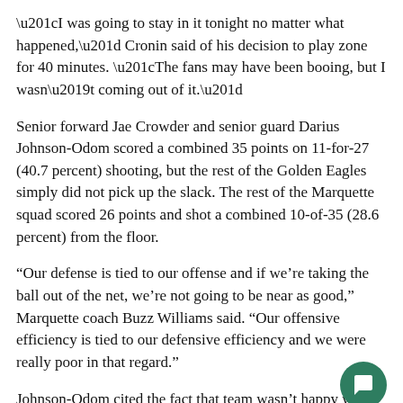“I was going to stay in it tonight no matter what happened,” Cronin said of his decision to play zone for 40 minutes. “The fans may have been booing, but I wasn’t coming out of it.”
Senior forward Jae Crowder and senior guard Darius Johnson-Odom scored a combined 35 points on 11-for-27 (40.7 percent) shooting, but the rest of the Golden Eagles simply did not pick up the slack. The rest of the Marquette squad scored 26 points and shot a combined 10-of-35 (28.6 percent) from the floor.
“Our defense is tied to our offense and if we’re taking the ball out of the net, we’re not going to be near as good,” Marquette coach Buzz Williams said. “Our offensive efficiency is tied to our defensive efficiency and we were really poor in that regard.”
Johnson-Odom cited the fact that team wasn’t happy with the effort they gave on offense or defense.
“We weren’t very aggressive on either side of the court,” Johnson-Odom said. “Everybody’s a little frustrated.”